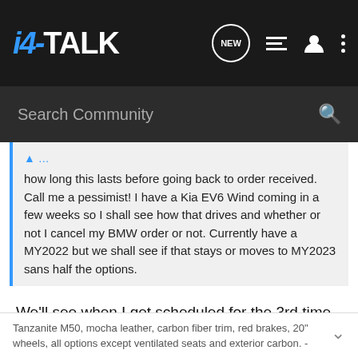i4-TALK
Search Community
how long this lasts before going back to order received. Call me a pessimist! I have a Kia EV6 Wind coming in a few weeks so I shall see how that drives and whether or not I cancel my BMW order or not. Currently have a MY2022 but we shall see if that stays or moves to MY2023 sans half the options.
We'll see when I get scheduled for the 3rd time also.
Until there is a VIN attached to my order, it means nothing.
Waiting for my M50......
Tanzanite M50, mocha leather, carbon fiber trim, red brakes, 20" wheels, all options except ventilated seats and exterior carbon. -